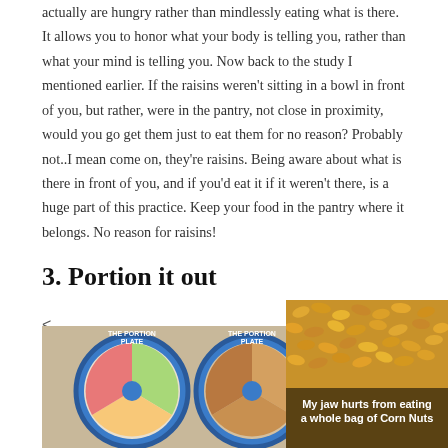actually are hungry rather than mindlessly eating what is there. It allows you to honor what your body is telling you, rather than what your mind is telling you. Now back to the study I mentioned earlier. If the raisins weren't sitting in a bowl in front of you, but rather, were in the pantry, not close in proximity, would you go get them just to eat them for no reason? Probably not..I mean come on, they're raisins. Being aware about what is there in front of you, and if you'd eat it if it weren't there, is a huge part of this practice. Keep your food in the pantry where it belongs. No reason for raisins!
3. Portion it out
<
"the portion plate"
[Figure (photo): Two portion plates shown side by side with food divided into sections, blue circular plates with 'The Portion Plate' text]
[Figure (photo): Close-up photo of yellow/golden corn nuts or similar snack food, with text overlay 'My jaw hurts from eating a whole bag of Corn Nuts']